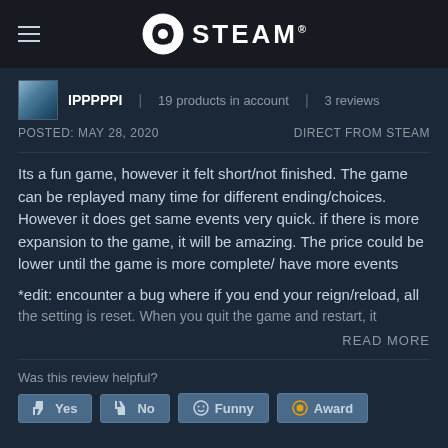STEAM®
IPPPPPI | 19 products in account | 3 reviews
POSTED: MAY 28, 2020   DIRECT FROM STEAM
Its a fun game, however it felt short/not finished. The game can be replayed many time for different ending/choices. However it does get same events very quick. if there is more expansion to the game, it will be amazing. The price could be lower until the game is more complete/ have more events
*edit: encounter a bug where if you end your reign/reload, all the setting is reset. When you quit the game and restart, it
READ MORE
Was this review helpful?
Yes   No   Funny   Award